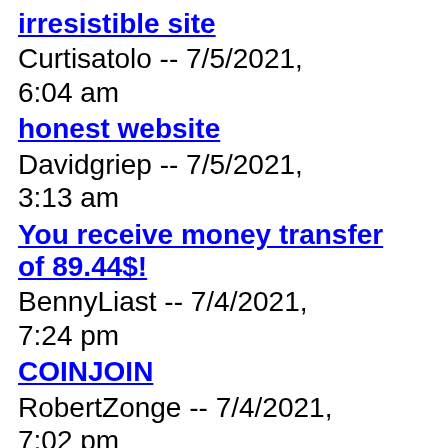irresistible site
Curtisatolo -- 7/5/2021, 6:04 am
honest website
Davidgriep -- 7/5/2021, 3:13 am
You receive money transfer of 89.44$!
BennyLiast -- 7/4/2021, 7:24 pm
COINJOIN
RobertZonge -- 7/4/2021, 7:02 pm